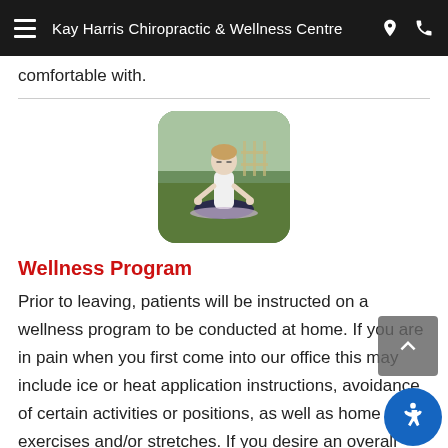Kay Harris Chiropractic & Wellness Centre
comfortable with.
[Figure (photo): Woman sitting in lotus meditation pose outdoors on grass, wearing white top and dark pants, eyes closed, with greenery and fence in background. Image has rounded corners.]
Wellness Program
Prior to leaving, patients will be instructed on a wellness program to be conducted at home. If you are in pain when you first come into our office this may include ice or heat application instructions, avoidance of certain activities or positions, as well as home exercises and/or stretches. If you desire an overall